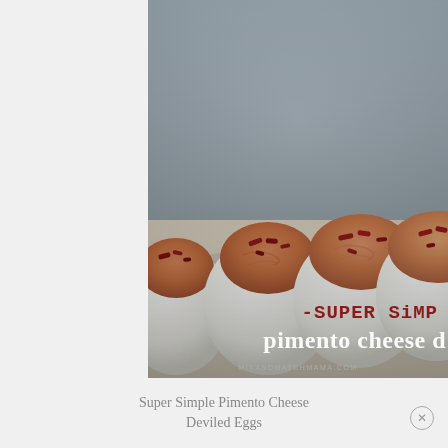[Figure (photo): Close-up photo of deviled eggs filled with pimento cheese and topped with bacon bits, arranged in a row on a light surface. Overlay text reads '-SUPER SIMP' and 'pimento cheese d' with MIXANDMATCHMAMA.COM at the bottom.]
Super Simple Pimento Cheese Deviled Eggs